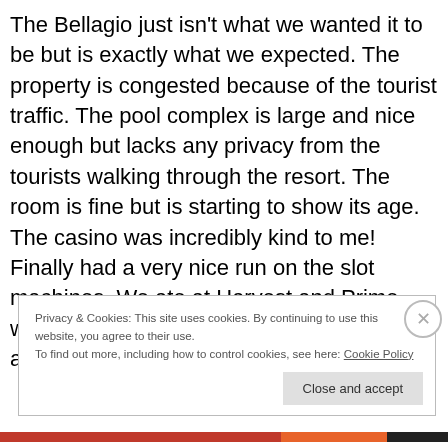The Bellagio just isn't what we wanted it to be but is exactly what we expected. The property is congested because of the tourist traffic. The pool complex is large and nice enough but lacks any privacy from the tourists walking through the resort. The room is fine but is starting to show its age. The casino was incredibly kind to me! Finally had a very nice run on the slot machines. We ate at Harvest and Prime which we fabulous. The most disappointing aspect of the Bellagio was the service. We
Privacy & Cookies: This site uses cookies. By continuing to use this website, you agree to their use.
To find out more, including how to control cookies, see here: Cookie Policy
Close and accept